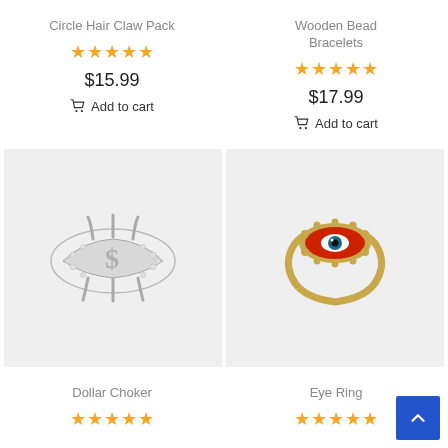Circle Hair Claw Pack
★★★★★
$15.99
🛒 Add to cart
Wooden Bead Bracelets
★★★★★
$17.99
🛒 Add to cart
[Figure (photo): Silver rhinestone dollar sign hair claw clip on light grey background]
[Figure (photo): Gold evil eye ring with red enamel and blue center stone on light grey background]
Dollar Choker
★★★★★
Eye Ring
★★★★★